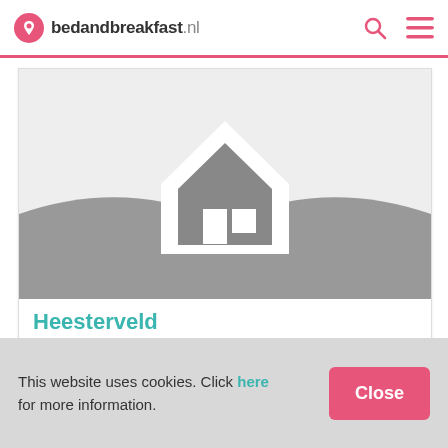bedandbreakfast.nl
[Figure (illustration): Placeholder image for a bed and breakfast listing showing a stylized house icon on a grey landscape background]
Heesterveld
This website uses cookies. Click here for more information.